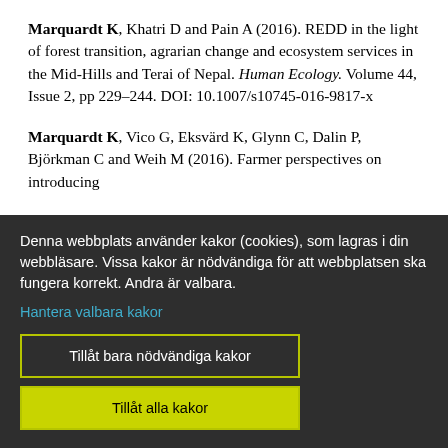Marquardt K, Khatri D and Pain A (2016). REDD in the light of forest transition, agrarian change and ecosystem services in the Mid-Hills and Terai of Nepal. Human Ecology. Volume 44, Issue 2, pp 229–244. DOI: 10.1007/s10745-016-9817-x
Marquardt K, Vico G, Eksvärd K, Glynn C, Dalin P, Björkman C and Weih M (2016). Farmer perspectives on introducing
Denna webbplats använder kakor (cookies), som lagras i din webbläsare. Vissa kakor är nödvändiga för att webbplatsen ska fungera korrekt. Andra är valbara.
Hantera valbara kakor
Tillåt bara nödvändiga kakor
Tillåt alla kakor